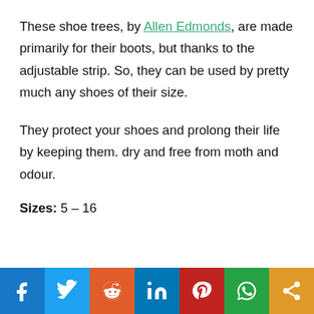These shoe trees, by Allen Edmonds, are made primarily for their boots, but thanks to the adjustable strip. So, they can be used by pretty much any shoes of their size.
They protect your shoes and prolong their life by keeping them. dry and free from moth and odour.
Sizes: 5 – 16